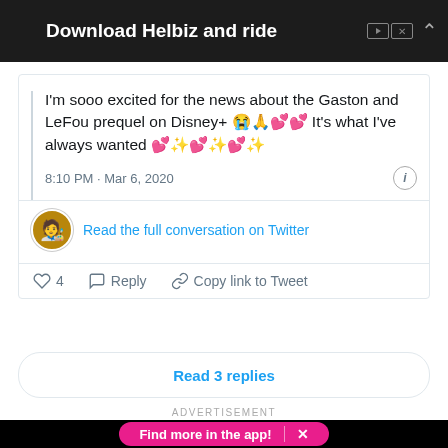[Figure (screenshot): Advertisement banner for Helbiz scooter app showing scooter image with text 'Download Helbiz and ride']
I'm sooo excited for the news about the Gaston and LeFou prequel on Disney+ 😭🙏💕💕 It's what I've always wanted 💕✨💕✨💕✨
8:10 PM · Mar 6, 2020
Read the full conversation on Twitter
♡ 4   Reply   Copy link to Tweet
Read 3 replies
ADVERTISEMENT
[Figure (screenshot): Black advertisement banner with pink button 'Find more in the app! X']